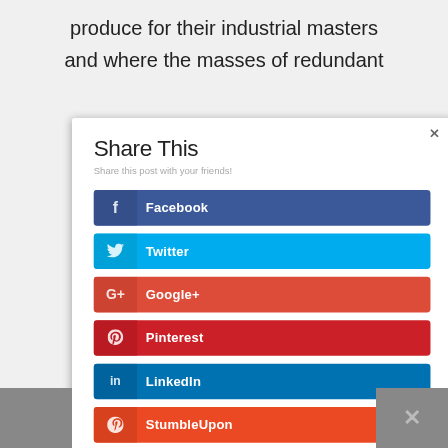produce for their industrial masters and where the masses of redundant
Share This
Share this post with your friends!
Facebook
Twitter
Google+
Pinterest
LinkedIn
StumbleUpon